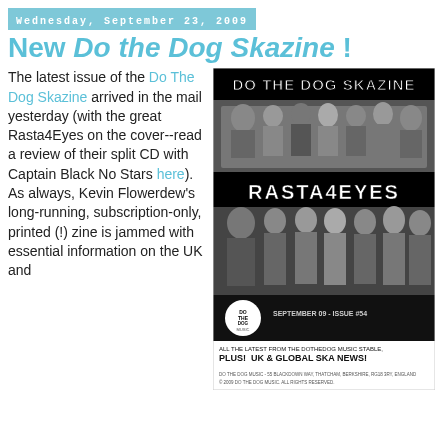Wednesday, September 23, 2009
New Do the Dog Skazine !
The latest issue of the Do The Dog Skazine arrived in the mail yesterday (with the great Rasta4Eyes on the cover--read a review of their split CD with Captain Black No Stars here). As always, Kevin Flowerdew's long-running, subscription-only, printed (!) zine is jammed with essential information on the UK and
[Figure (photo): Black and white magazine cover of the Do The Dog Skazine, September 09 Issue #54, featuring Rasta4Eyes on the cover with group photos. Text reads: DO THE DOG SKAZINE, RASTA4EYES, SEPTEMBER 09 - ISSUE #54, ALL THE LATEST FROM THE DOTHEDOG MUSIC STABLE, PLUS! UK & GLOBAL SKA NEWS!]